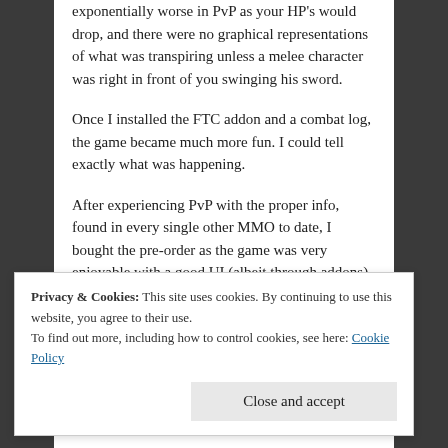exponentially worse in PvP as your HP's would drop, and there were no graphical representations of what was transpiring unless a melee character was right in front of you swinging his sword.
Once I installed the FTC addon and a combat log, the game became much more fun. I could tell exactly what was happening.
After experiencing PvP with the proper info, found in every single other MMO to date, I bought the pre-order as the game was very enjoyable with a good UI (albeit through addons)
Privacy & Cookies: This site uses cookies. By continuing to use this website, you agree to their use.
To find out more, including how to control cookies, see here: Cookie Policy
Close and accept